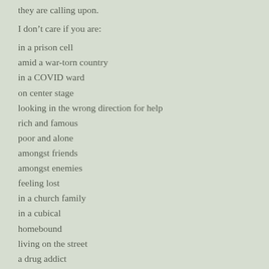they are calling upon.
I don't care if you are:
in a prison cell
amid a war-torn country
in a COVID ward
on center stage
looking in the wrong direction for help
rich and famous
poor and alone
amongst friends
amongst enemies
feeling lost
in a church family
in a cubical
homebound
living on the street
a drug addict
hopeless
or seem to have it together.... God hears the heart that cries to him.